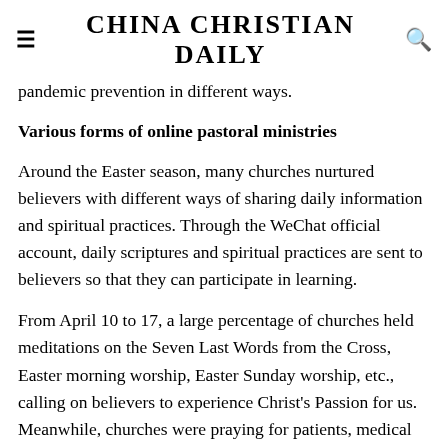CHINA CHRISTIAN DAILY
pandemic prevention in different ways.
Various forms of online pastoral ministries
Around the Easter season, many churches nurtured believers with different ways of sharing daily information and spiritual practices. Through the WeChat official account, daily scriptures and spiritual practices are sent to believers so that they can participate in learning.
From April 10 to 17, a large percentage of churches held meditations on the Seven Last Words from the Cross, Easter morning worship, Easter Sunday worship, etc., calling on believers to experience Christ's Passion for us. Meanwhile, churches were praying for patients, medical staff, and social workers under the lockdown.